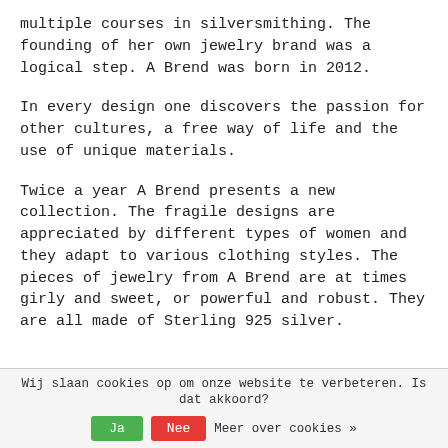multiple courses in silversmithing. The founding of her own jewelry brand was a logical step. A Brend was born in 2012.
In every design one discovers the passion for other cultures, a free way of life and the use of unique materials.
Twice a year A Brend presents a new collection. The fragile designs are appreciated by different types of women and they adapt to various clothing styles. The pieces of jewelry from A Brend are at times girly and sweet, or powerful and robust. They are all made of Sterling 925 silver.
Wij slaan cookies op om onze website te verbeteren. Is dat akkoord? Ja Nee Meer over cookies »